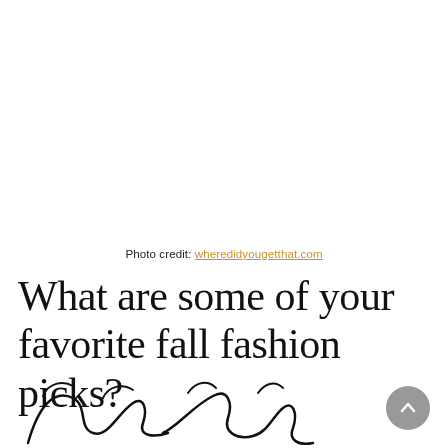Photo credit: wheredidyougetthat.com
What are some of your favorite fall fashion picks?
[Figure (illustration): Partial handwritten signature/autograph in black ink, cropped at the bottom of the page]
[Figure (other): Gray circular scroll-to-top button with upward chevron arrow, positioned bottom right]